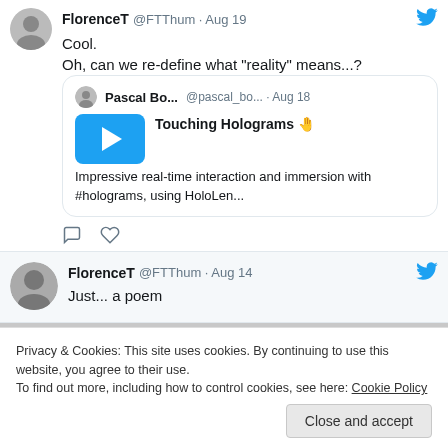FlorenceT @FTThum · Aug 19
Cool.
Oh, can we re-define what "reality" means...?
Pascal Bo... @pascal_bo... · Aug 18
Touching Holograms
Impressive real-time interaction and immersion with #holograms, using HoloLen...
FlorenceT @FTThum · Aug 14
Just... a poem
Privacy & Cookies: This site uses cookies. By continuing to use this website, you agree to their use.
To find out more, including how to control cookies, see here: Cookie Policy
Close and accept